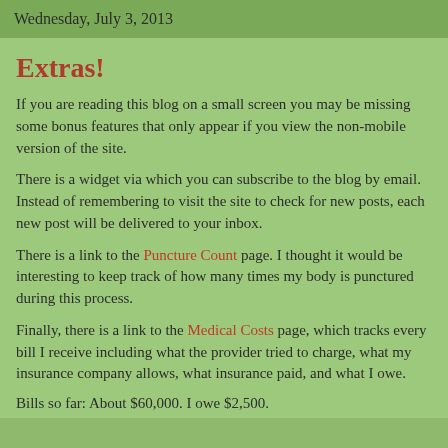Wednesday, July 3, 2013
Extras!
If you are reading this blog on a small screen you may be missing some bonus features that only appear if you view the non-mobile version of the site.
There is a widget via which you can subscribe to the blog by email. Instead of remembering to visit the site to check for new posts, each new post will be delivered to your inbox.
There is a link to the Puncture Count page. I thought it would be interesting to keep track of how many times my body is punctured during this process.
Finally, there is a link to the Medical Costs page, which tracks every bill I receive including what the provider tried to charge, what my insurance company allows, what insurance paid, and what I owe.
Bills so far: About $60,000. I owe $2,500.